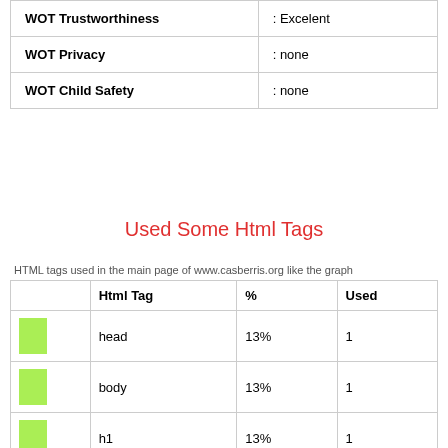|  |  |
| --- | --- |
| WOT Trustworthiness | : Excelent |
| WOT Privacy | : none |
| WOT Child Safety | : none |
Used Some Html Tags
HTML tags used in the main page of www.casberris.org like the graph
|  | Html Tag | % | Used |
| --- | --- | --- | --- |
| [green bar] | head | 13% | 1 |
| [green bar] | body | 13% | 1 |
| [green bar] | h1 | 13% | 1 |
| [green bar] | form | 13% | 1 |